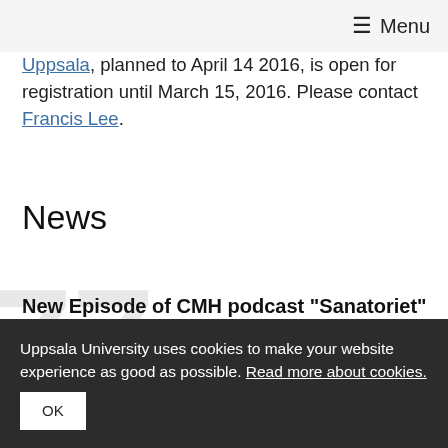≡ Menu
Uppsala, planned to April 14 2016, is open for registration until March 15, 2016. Please contact Francis Lee.
News
New Episode of CMH podcast "Sanatoriet"
2022-05-23
Petter Hellström on Darwin in Bildningspodden
Uppsala University uses cookies to make your website experience as good as possible. Read more about cookies. OK